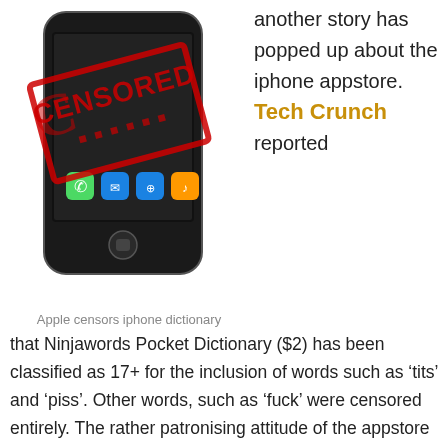[Figure (photo): iPhone with a red CENSORED stamp overlay on the screen]
Apple censors iphone dictionary
another story has popped up about the iphone appstore. Tech Crunch reported that Ninjawords Pocket Dictionary ($2) has been classified as 17+ for the inclusion of words such as ‘tits’ and ‘piss’. Other words, such as ‘fuck’ were censored entirely. The rather patronising attitude of the appstore reviewers has annoyed many in the tech world, especially when censored words are freely available in the Apple OS X dictionary.